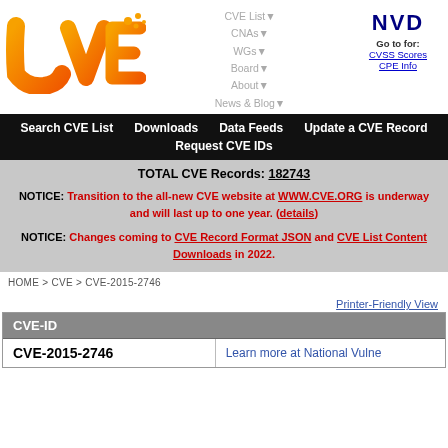[Figure (logo): CVE logo in orange/yellow gradient with circuit-board dot pattern]
[Figure (logo): NVD logo with 'Go to for: CVSS Scores, CPE Info' links]
CVE List▼  CNAs▼  WGs▼  Board▼  About▼  News & Blog▼
Search CVE List   Downloads   Data Feeds   Update a CVE Record   Request CVE IDs
TOTAL CVE Records: 182743

NOTICE: Transition to the all-new CVE website at WWW.CVE.ORG is underway and will last up to one year. (details)

NOTICE: Changes coming to CVE Record Format JSON and CVE List Content Downloads in 2022.
HOME > CVE > CVE-2015-2746
Printer-Friendly View
| CVE-ID |  |
| --- | --- |
| CVE-2015-2746 | Learn more at National Vulne |